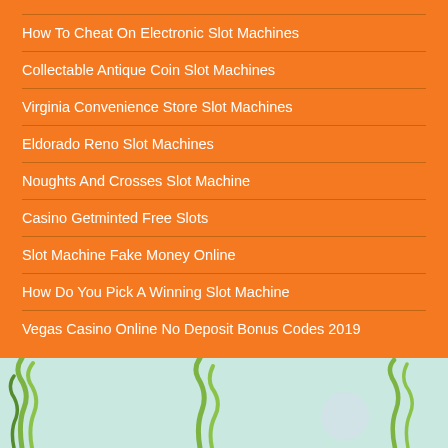How To Cheat On Electronic Slot Machines
Collectable Antique Coin Slot Machines
Virginia Convenience Store Slot Machines
Eldorado Reno Slot Machines
Noughts And Crosses Slot Machine
Casino Getminted Free Slots
Slot Machine Fake Money Online
How Do You Pick A Winning Slot Machine
Vegas Casino Online No Deposit Bonus Codes 2019
[Figure (illustration): Light aqua/teal background with green seaweed plants and a circular grey/white decoration, suggesting an underwater scene.]